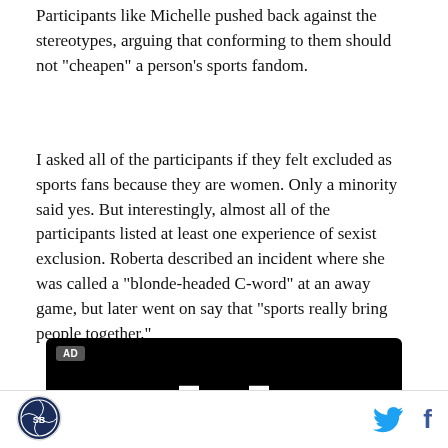Participants like Michelle pushed back against the stereotypes, arguing that conforming to them should not "cheapen" a person's sports fandom.
I asked all of the participants if they felt excluded as sports fans because they are women. Only a minority said yes. But interestingly, almost all of the participants listed at least one experience of sexist exclusion. Roberta described an incident where she was called a "blonde-headed C-word" at an away game, but later went on say that "sports really bring people together."
[Figure (other): Black advertisement banner with Honda logo (white H emblem) and AD label in top-left corner]
[Figure (logo): Site logo: circular sports media logo in bottom-left footer]